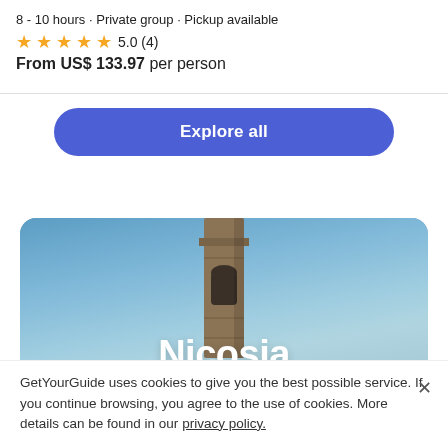8 - 10 hours · Private group · Pickup available
★★★★★ 5.0 (4)
From US$ 133.97 per person
Explore all
[Figure (photo): Photo of a stone tower/minaret against a blue sky with the text 'Nicosia' overlaid in large white bold text]
GetYourGuide uses cookies to give you the best possible service. If you continue browsing, you agree to the use of cookies. More details can be found in our privacy policy.